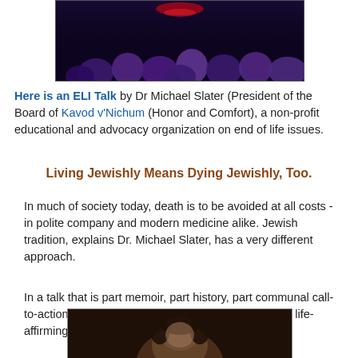[Figure (photo): Audience members in dark room, viewed from behind, with purple/blue lighting]
Here is an ELI Talk by Dr Michael Slater (President of the Board of Kavod v'Nichum (Honor and Comfort), a non-profit educational and advocacy organization on end of life issues.
Living Jewishly Means Dying Jewishly, Too.
In much of society today, death is to be avoided at all costs - in polite company and modern medicine alike. Jewish tradition, explains Dr. Michael Slater, has a very different approach.
In a talk that is part memoir, part history, part communal call-to-action, we see the wisdom of Judaism as not only life-affirming, but death-affirming, as well.
[Figure (photo): Portrait photo of a person from above, partial view at bottom of page]